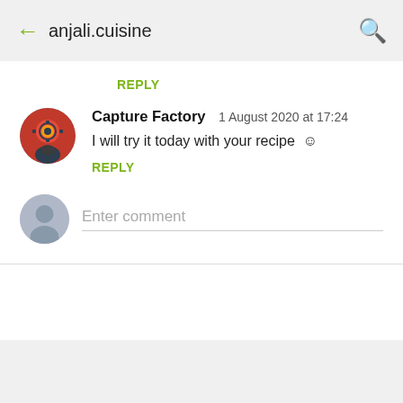← anjali.cuisine 🔍
REPLY
Capture Factory  1 August 2020 at 17:24
I will try it today with your recipe ☺
REPLY
Enter comment